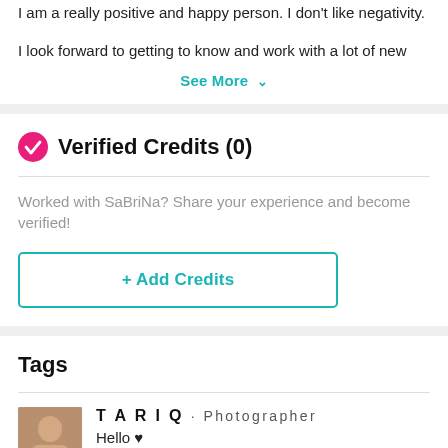I am a really positive and happy person. I don't like negativity.
I look forward to getting to know and work with a lot of new
See More
Verified Credits (0)
Worked with SaBriNa? Share your experience and become verified!
+ Add Credits
Tags
TARIQ · Photographer
Hello ♥